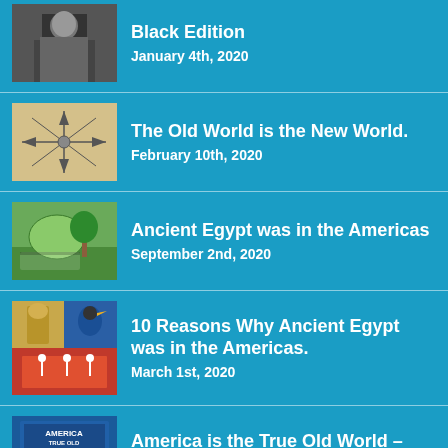Black Edition
January 4th, 2020
The Old World is the New World.
February 10th, 2020
Ancient Egypt was in the Americas
September 2nd, 2020
10 Reasons Why Ancient Egypt was in the Americas.
March 1st, 2020
America is the True Old World – Paperback
December 20th, 2019